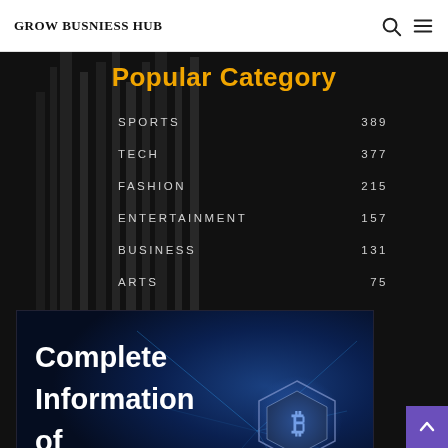GROW BUSNIESS HUB
Popular Category
SPORTS 389
TECH 377
FASHION 215
ENTERTAINMENT 157
BUSINESS 131
ARTS 75
[Figure (photo): Dark blue technology background with Bitcoin cryptocurrency coin and text: Complete Information of Bitcoin]